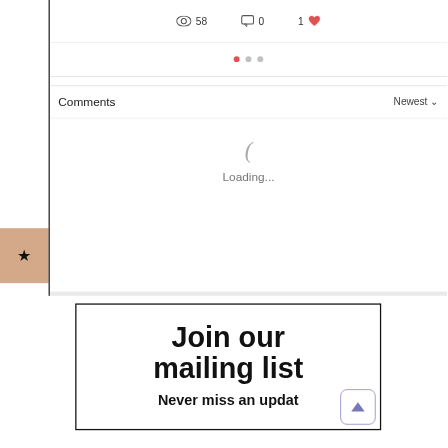[Figure (screenshot): Web page UI showing stats row with eye icon (58 views), comment icon (0 comments), and heart icon (1 like); pagination dots; Comments section header with Newest dropdown; loading spinner; tan sidebar with star icon; and a mailing list popup saying 'Join our mailing list — Never miss an updat...' with a scroll-to-top button.]
58
0
1
Comments
Newest ∨
Loading...
Join our mailing list
Never miss an updat